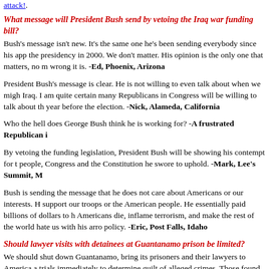attack!.
What message will President Bush send by vetoing the Iraq war funding bill?
Bush's message isn't new. It's the same one he's been sending everybody since his app the presidency in 2000. We don't matter. His opinion is the only one that matters, no m wrong it is. -Ed, Phoenix, Arizona
President Bush's message is clear. He is not willing to even talk about when we migh Iraq. I am quite certain many Republicans in Congress will be willing to talk about th year before the election. -Nick, Alameda, California
Who the hell does George Bush think he is working for? -A frustrated Republican i
By vetoing the funding legislation, President Bush will be showing his contempt for t people, Congress and the Constitution he swore to uphold. -Mark, Lee's Summit, M
Bush is sending the message that he does not care about Americans or our interests. H support our troops or the American people. He essentially paid billions of dollars to h Americans die, inflame terrorism, and make the rest of the world hate us with his arro policy. -Eric, Post Falls, Idaho
Should lawyer visits with detainees at Guantanamo prison be limited?
We should shut down Guantanamo, bring its prisoners and their lawyers to America a trials immediately to determine guilt of alleged crimes. Those found guilty should be others should be set free, although we have no doubt made them enemies meriting ou -Van, Big Stone Gap, Virginia
We are dealing with an enemy different from any we have ever faced. These criminal their children as suicide bombers, and behead kidnapped victims, joyously showing th gruesome events on tape. What is important to me is security for America. If this mea terrorists of some of the privileges of a free society, I am all for it. -Joseph, San Diego Californi